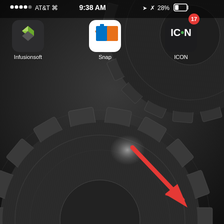[Figure (screenshot): iOS iPhone home screen screenshot showing status bar with AT&T carrier, 9:38 AM time, 28% battery, and three app icons: Infusionsoft, Snap, and ICON (with badge showing 17 notifications). Background is a dark metallic gear/cog wallpaper. A red arrow annotation points diagonally down-right toward the bottom of the screen.]